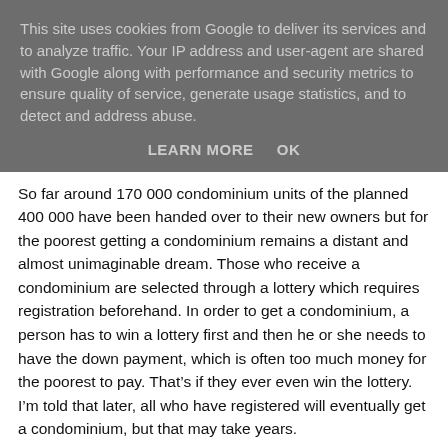This site uses cookies from Google to deliver its services and to analyze traffic. Your IP address and user-agent are shared with Google along with performance and security metrics to ensure quality of service, generate usage statistics, and to detect and address abuse.
LEARN MORE    OK
So far around 170 000 condominium units of the planned 400 000 have been handed over to their new owners but for the poorest getting a condominium remains a distant and almost unimaginable dream. Those who receive a condominium are selected through a lottery which requires registration beforehand. In order to get a condominium, a person has to win a lottery first and then he or she needs to have the down payment, which is often too much money for the poorest to pay. That’s if they ever even win the lottery. I’m told that later, all who have registered will eventually get a condominium, but that may take years.
In March 2015 I visited an unplanned, government-owned kebele neighbourhood situated close to the centre of Addis